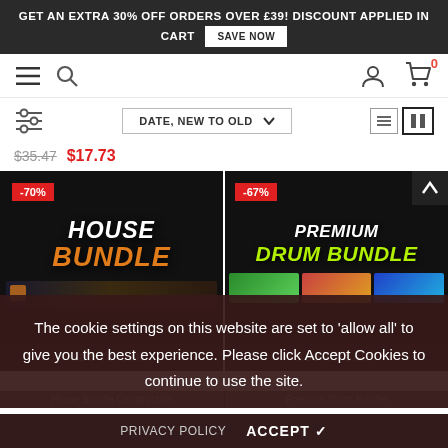GET AN EXTRA 30% OFF ORDERS OVER £39! DISCOUNT APPLIED IN CART  SAVE NOW
[Figure (screenshot): Navigation bar with hamburger menu, search icon, user icon, and cart icon with 0 badge]
[Figure (screenshot): Filter/sort bar with sliders icon, DATE NEW TO OLD dropdown, list and grid view icons]
$35.47  $17.73
[Figure (screenshot): Two product cards: House Bundle (-70% badge) and Premium Drum Bundle (-67% badge), both on dark background with colored text]
The cookie settings on this website are set to 'allow all' to give you the best experience. Please click Accept Cookies to continue to use the site.
PRIVACY POLICY   ACCEPT ✓
House Bundle Construction    Premium Drum Bundle